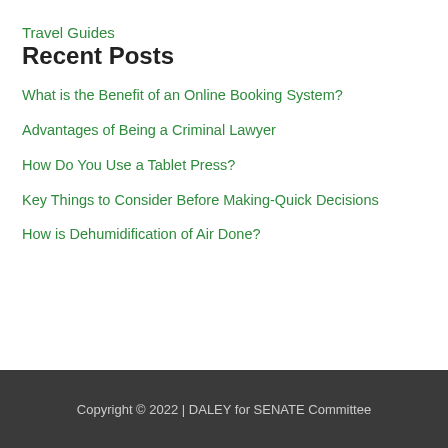Travel Guides
Recent Posts
What is the Benefit of an Online Booking System?
Advantages of Being a Criminal Lawyer
How Do You Use a Tablet Press?
Key Things to Consider Before Making-Quick Decisions
How is Dehumidification of Air Done?
Copyright © 2022 | DALEY for SENATE Committee